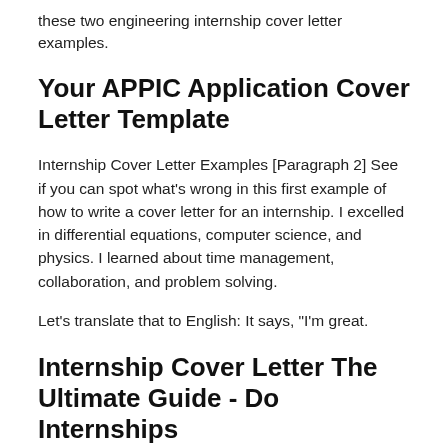these two engineering internship cover letter examples.
Your APPIC Application Cover Letter Template
Internship Cover Letter Examples [Paragraph 2] See if you can spot what's wrong in this first example of how to write a cover letter for an internship. I excelled in differential equations, computer science, and physics. I learned about time management, collaboration, and problem solving.
Let's translate that to English: It says, "I'm great.
Internship Cover Letter The Ultimate Guide - Do Internships
Now check out this next good cover letter sample. I expect to grow my already award-nominated skill set to